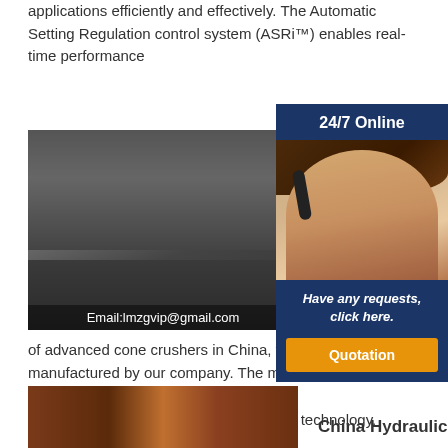applications efficiently and effectively. The Automatic Setting Regulation control system (ASRi™) enables real-time performance
[Figure (photo): Mobile cone crusher machine in front of industrial building. Email:lmzgvip@gmail.com watermark overlay.]
con
cru
Cor
Ma
HP 5
cylin
Con
[Figure (infographic): 24/7 Online sidebar with customer service representative wearing headset, 'Have any requests, click here.' text and Quotation button]
of advanced cone crushers in China, which is dev... manufactured by our company. The machine is one kind of high class product combined with mechanical technology, electrical technology, hydraulic technology and advanced crushing technology.
[Figure (photo): Close-up of crusher wear parts / jaw plates]
China Hydraulic